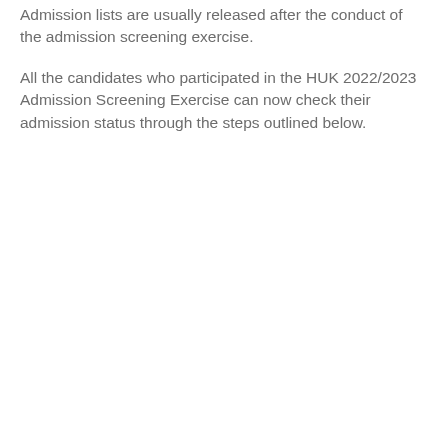Admission lists are usually released after the conduct of the admission screening exercise.
All the candidates who participated in the HUK 2022/2023 Admission Screening Exercise can now check their admission status through the steps outlined below.